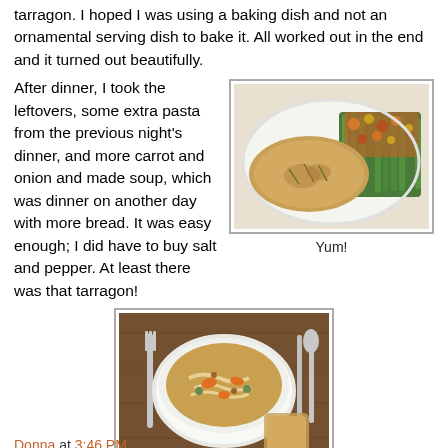tarragon.  I hoped I was using a baking dish and not an ornamental serving dish to bake it.  All worked out in the end and it turned out beautifully.
After dinner, I took the leftovers, some extra pasta from the previous night's dinner, and more carrot and onion and made soup, which was dinner on another day with more bread.  It was easy enough; I did have to buy salt and pepper.  At least there was that tarragon!
[Figure (photo): A white plate with a baked chicken breast, green beans, and a vegetable medley with carrots and other vegetables.]
Yum!
[Figure (photo): A white bowl of pasta soup with carrots and vegetables, placed on a wooden surface with silverware beside it.]
Donna at 3:46 PM